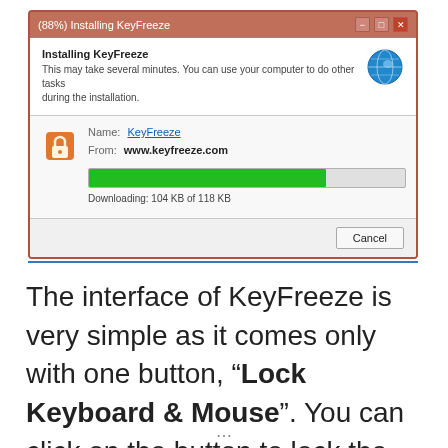[Figure (screenshot): Windows installer dialog for KeyFreeze showing 88% installation progress. Title bar reads '(88%) Installing KeyFreeze'. Body shows 'Installing KeyFreeze - This may take several minutes. You can use your computer to do other tasks during the installation.' with globe icon. Below: Name: KeyFreeze (link), From: www.keyfreeze.com, a progress bar at ~75% fill, text 'Downloading: 104 KB of 118 KB', and a Cancel button.]
The interface of KeyFreeze is very simple as it comes only with one button, “Lock Keyboard & Mouse”. You can click on the button to lock the keyboard and mouse while